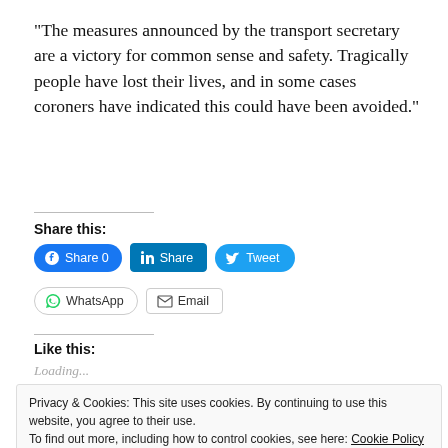“The measures announced by the transport secretary are a victory for common sense and safety. Tragically people have lost their lives, and in some cases coroners have indicated this could have been avoided.”
Share this:
Share 0 | Share | Tweet | WhatsApp | Email
Like this:
Loading...
Privacy & Cookies: This site uses cookies. By continuing to use this website, you agree to their use.
To find out more, including how to control cookies, see here: Cookie Policy